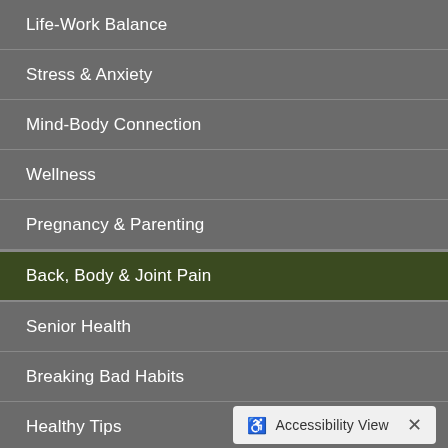Life-Work Balance
Stress & Anxiety
Mind-Body Connection
Wellness
Pregnancy & Parenting
Back, Body & Joint Pain
Senior Health
Breaking Bad Habits
Healthy Tips